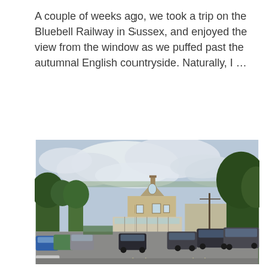A couple of weeks ago, we took a trip on the Bluebell Railway in Sussex, and enjoyed the view from the window as we puffed past the autumnal English countryside. Naturally, I ...
READ MORE
[Figure (photo): Outdoor photograph of a car park with numerous parked cars in the foreground, a stone building with a gabled roof in the centre-background, trees on both sides, and a partly cloudy sky above.]